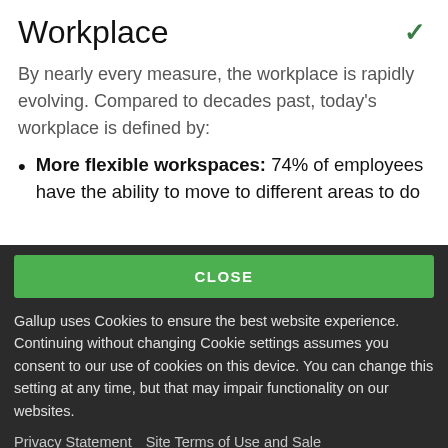Workplace
By nearly every measure, the workplace is rapidly evolving. Compared to decades past, today's workplace is defined by:
More flexible workspaces: 74% of employees have the ability to move to different areas to do
CLOSE
Gallup uses Cookies to ensure the best website experience. Continuing without changing Cookie settings assumes you consent to our use of cookies on this device. You can change this setting at any time, but that may impair functionality on our websites.
Privacy Statement   Site Terms of Use and Sale
Product Terms of Use   Adjust your cookie settings.